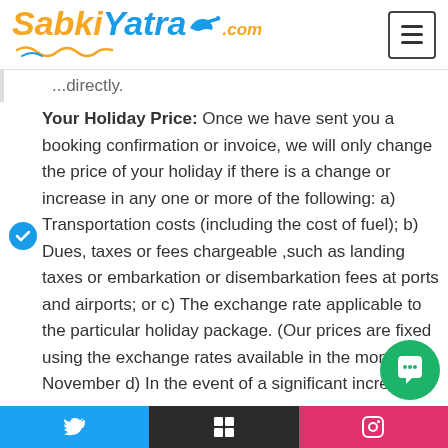SabkiYatra.com
...directly.
Your Holiday Price: Once we have sent you a booking confirmation or invoice, we will only change the price of your holiday if there is a change or increase in any one or more of the following: a) Transportation costs (including the cost of fuel); b) Dues, taxes or fees chargeable ,such as landing taxes or embarkation or disembarkation fees at ports and airports; or c) The exchange rate applicable to the particular holiday package. (Our prices are fixed using the exchange rates available in the month of November d) In the event of a significant increase in any of the components that are included in your to... ...included...
Twitter | LinkedIn | Instagram